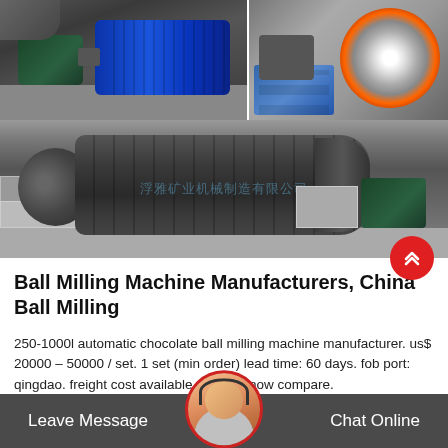[Figure (photo): Three photos of ball milling machines: top-left shows electric motors (blue motor prominent), top-right shows large orange/white gear ring assembly, bottom shows a large horizontal ball mill machine installed in an industrial setting with watermark text in Chinese.]
Ball Milling Machine Manufacturers, China Ball Milling
250-1000l automatic chocolate ball milling machine manufacturer. us$ 20000 – 50000 / set. 1 set (min order) lead time: 60 days. fob port: qingdao. freight cost available. enquire now compare.